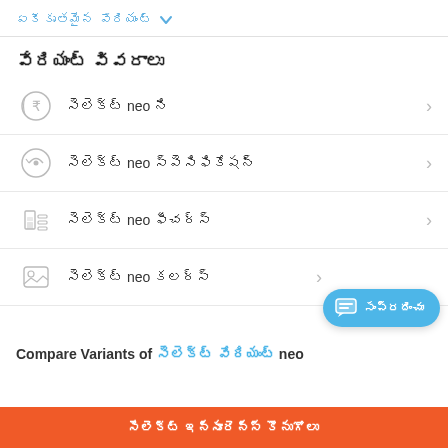ఏకీకృతమైన వేరియంట్ ▾
వేరియంట్ వివరాలు
సెలెక్ట్ neo ని >
సెలెక్ట్ neo స్పెసిఫి >
సెలెక్ట్ neo ఫీచర్స్ >
సెలెక్ట్ neo కలర్స్ >
Compare Variants of సెలెక్ట్ వేరియంట్ neo
సెలెక్ట్ ఇన్సూరెన్స్ కొనుగోలు